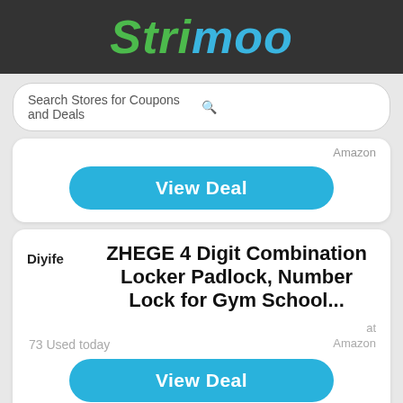Strimoo
Search Stores for Coupons and Deals
Amazon
View Deal
Diyife
ZHEGE 4 Digit Combination Locker Padlock, Number Lock for Gym School...
73 Used today
at Amazon
View Deal
view all Divife best